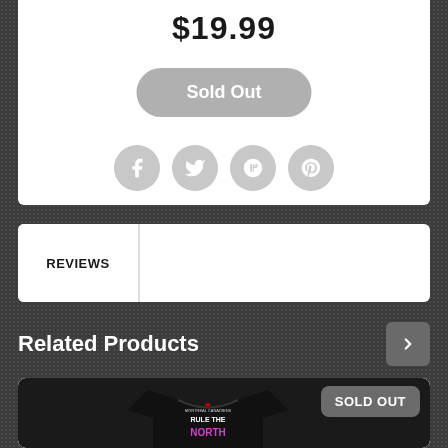$19.99
Sold Out
[Figure (illustration): Social sharing icons: Facebook, Twitter, Google+, Pinterest — gray circular buttons]
REVIEWS
Related Products
[Figure (photo): Black sweatshirt with 'RULE THE NORTH' text and Montreal Canadiens branding, with a SOLD OUT badge]
SOLD OUT